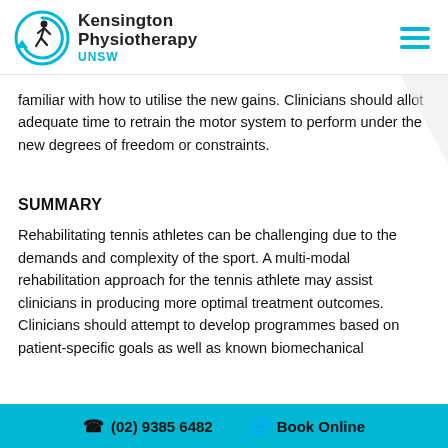Kensington Physiotherapy UNSW
familiar with how to utilise the new gains. Clinicians should allot adequate time to retrain the motor system to perform under the new degrees of freedom or constraints.
SUMMARY
Rehabilitating tennis athletes can be challenging due to the demands and complexity of the sport. A multi-modal rehabilitation approach for the tennis athlete may assist clinicians in producing more optimal treatment outcomes. Clinicians should attempt to develop programmes based on patient-specific goals as well as known biomechanical
(02) 9385 6482    Book Online